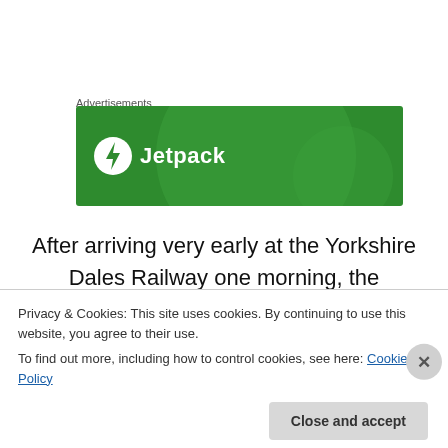Advertisements
[Figure (logo): Jetpack advertisement banner — green background with large lighter green circles, Jetpack logo (lightning bolt in white circle) and white text 'Jetpack']
After arriving very early at the Yorkshire Dales Railway one morning, the members of one ‘Fling Pig Tour’ were told to ‘Sod off back to Chasewater and work on your own
Privacy & Cookies: This site uses cookies. By continuing to use this website, you agree to their use.
To find out more, including how to control cookies, see here: Cookie Policy
Close and accept